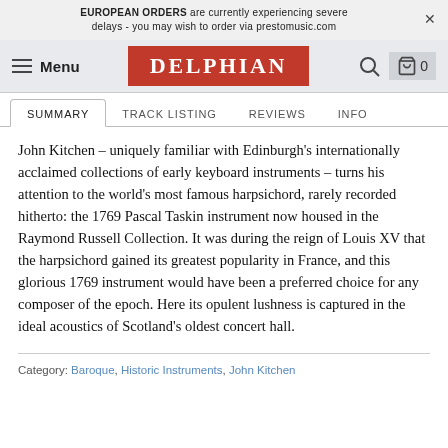EUROPEAN ORDERS are currently experiencing severe delays - you may wish to order via prestomusic.com
[Figure (screenshot): Delphian Records website navigation bar with hamburger menu, DELPHIAN logo in red, search and cart icons]
SUMMARY | TRACK LISTING | REVIEWS | INFO
John Kitchen – uniquely familiar with Edinburgh's internationally acclaimed collections of early keyboard instruments – turns his attention to the world's most famous harpsichord, rarely recorded hitherto: the 1769 Pascal Taskin instrument now housed in the Raymond Russell Collection. It was during the reign of Louis XV that the harpsichord gained its greatest popularity in France, and this glorious 1769 instrument would have been a preferred choice for any composer of the epoch. Here its opulent lushness is captured in the ideal acoustics of Scotland's oldest concert hall.
Category: Baroque, Historic Instruments, John Kitchen